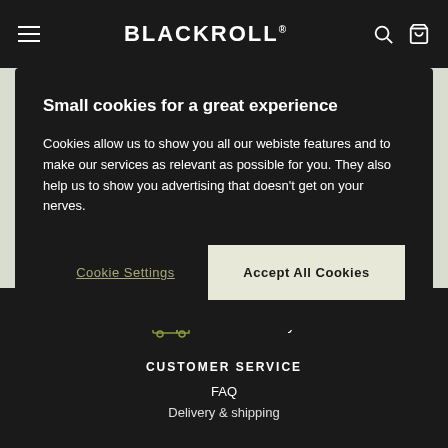BLACKROLL
Small cookies for a great experience
Cookies allow us to show you all our webiste features and to make our services as relevant as possible for you. They also help us to show you advertising that doesn't get on your nerves.
Cookie Settings
Accept All Cookies
Free delivery
CUSTOMER SERVICE
FAQ
Delivery & shipping